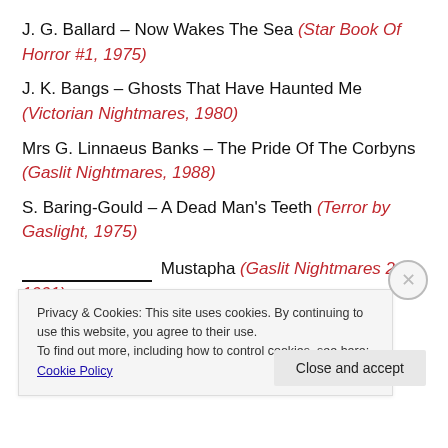J. G. Ballard – Now Wakes The Sea (Star Book Of Horror #1, 1975)
J. K. Bangs – Ghosts That Have Haunted Me (Victorian Nightmares, 1980)
Mrs G. Linnaeus Banks – The Pride Of The Corbyns (Gaslit Nightmares, 1988)
S. Baring-Gould – A Dead Man's Teeth (Terror by Gaslight, 1975)
_______________ Mustapha (Gaslit Nightmares 2, 1991)
Privacy & Cookies: This site uses cookies. By continuing to use this website, you agree to their use. To find out more, including how to control cookies, see here: Cookie Policy
Close and accept